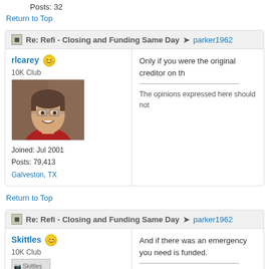Posts: 32
Return to Top
Re: Refi - Closing and Funding Same Day → parker1962
rlcarey
10K Club
Joined: Jul 2001
Posts: 79,413
Galveston, TX
Only if you were the original creditor on th
The opinions expressed here should not
Return to Top
Re: Refi - Closing and Funding Same Day → parker1962
Skittles
10K Club
Joined: Sep 2002
And if there was an emergency you need is funded.
My Opinions Only